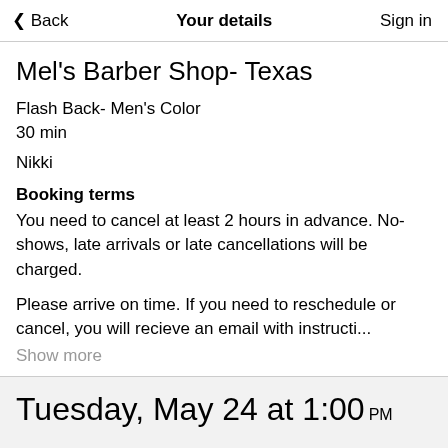< Back   Your details   Sign in
Mel's Barber Shop- Texas
Flash Back- Men's Color
30 min
Nikki
Booking terms
You need to cancel at least 2 hours in advance. No-shows, late arrivals or late cancellations will be charged.
Please arrive on time. If you need to reschedule or cancel, you will recieve an email with instructi...
Show more
Tuesday, May 24 at 1:00 PM
First name